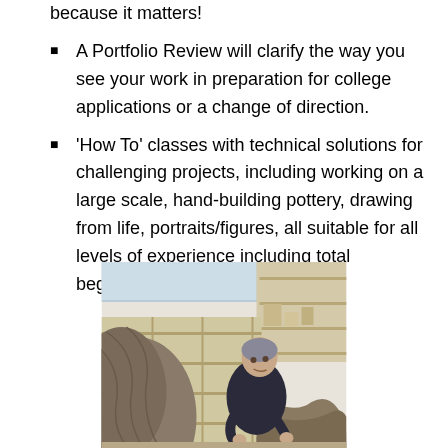because it matters!
A Portfolio Review will clarify the way you see your work in preparation for college applications or a change of direction.
'How To' classes with technical solutions for challenging projects, including working on a large scale, hand-building pottery, drawing from life, portraits/figures, all suitable for all levels of experience including total beginners.
[Figure (photo): A person in a dark shirt working with large clay sculptures in an art studio with shelving in the background.]